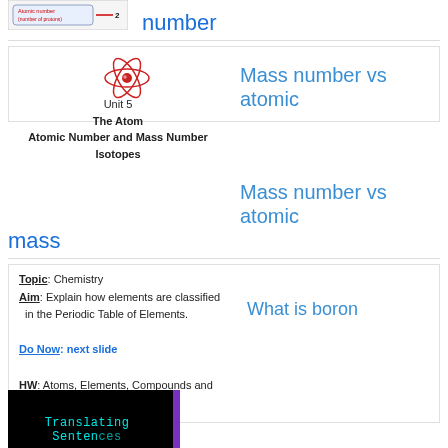[Figure (screenshot): Thumbnail image showing 'Atomic number (number of protons)' label with arrow pointing to 2]
number
[Figure (illustration): Red atomic/nuclear icon (Bohr model style atom)]
Unit 5
The Atom
Atomic Number and Mass Number
Isotopes
Mass number vs atomic
mass
Topic: Chemistry
Aim: Explain how elements are classified in the Periodic Table of Elements.

Do Now: next slide

HW: Atoms, Elements, Compounds and Mixtures Exam Review Sheet
What is boron
[Figure (screenshot): Dark background image with cyan text reading 'Translating Sentences' with purple bar on right]